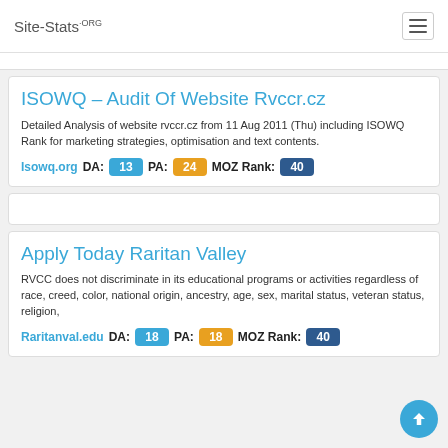Site-Stats.ORG
ISOWQ – Audit Of Website Rvccr.cz
Detailed Analysis of website rvccr.cz from 11 Aug 2011 (Thu) including ISOWQ Rank for marketing strategies, optimisation and text contents.
Isowq.org   DA: 13   PA: 24   MOZ Rank: 40
Apply Today Raritan Valley
RVCC does not discriminate in its educational programs or activities regardless of race, creed, color, national origin, ancestry, age, sex, marital status, veteran status, religion,
Raritanval.edu   DA: 18   PA: 18   MOZ Rank: 40